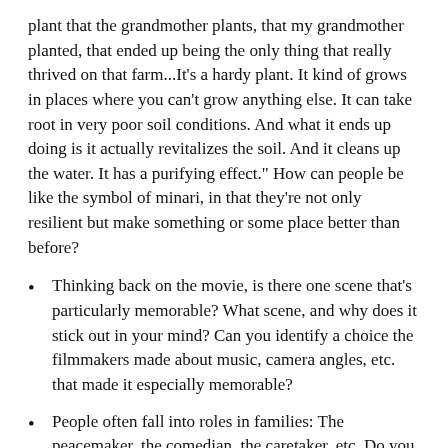plant that the grandmother plants, that my grandmother planted, that ended up being the only thing that really thrived on that farm...It's a hardy plant. It kind of grows in places where you can't grow anything else. It can take root in very poor soil conditions. And what it ends up doing is it actually revitalizes the soil. And it cleans up the water. It has a purifying effect." How can people be like the symbol of minari, in that they're not only resilient but make something or some place better than before?
Thinking back on the movie, is there one scene that's particularly memorable? What scene, and why does it stick out in your mind? Can you identify a choice the filmmakers made about music, camera angles, etc. that made it especially memorable?
People often fall into roles in families: The peacemaker, the comedian, the caretaker, etc. Do you think this is a positive or negative thing? Why?